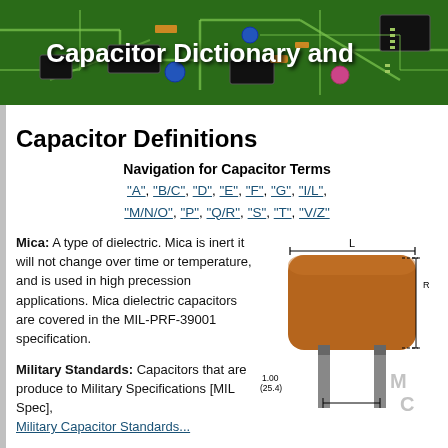[Figure (photo): Green circuit board background image with electronic components, with white bold text overlay reading 'Capacitor Dictionary and']
Capacitor Definitions
Navigation for Capacitor Terms
"A", "B/C", "D", "E", "F", "G", "I/L",
"M/N/O", "P", "Q/R", "S", "T", "V/Z"
Mica: A type of dielectric. Mica is inert it will not change over time or temperature, and is used in high precession applications. Mica dielectric capacitors are covered in the MIL-PRF-39001 specification.
[Figure (engineering-diagram): Technical drawing of a capacitor component showing dimensions, with measurement labels L, R, and 1.00 / (25.4) indicated. Brown capacitor body with leads shown in cross-section style diagram. Partial text 'M' and 'C' visible at bottom right.]
Military Standards: Capacitors that are produce to Military Specifications [MIL Spec], Military Capacitor Standards...